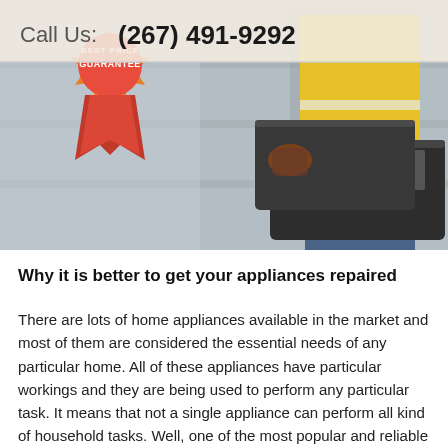[Figure (photo): Photo of a worker in a yellow hi-vis vest holding a large black toolbox, overlaid with a 'Best Price Guarantee' badge/ribbon in red and orange, and a header bar showing 'Call Us: (267) 491-9292']
Call Us: (267) 491-9292
Why it is better to get your appliances repaired
There are lots of home appliances available in the market and most of them are considered the essential needs of any particular home. All of these appliances have particular workings and they are being used to perform any particular task. It means that not a single appliance can perform all kind of household tasks. Well, one of the most popular and reliable companies among all the household